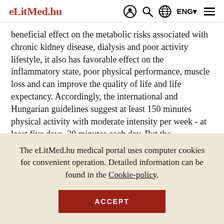eLitMed.hu — ENG — navigation icons
beneficial effect on the metabolic risks associated with chronic kidney disease, dialysis and poor activity lifestyle, it also has favorable effect on the inflammatory state, poor physical performance, muscle loss and can improve the quality of life and life expectancy. Accordingly, the international and Hungarian guidelines suggest at least 150 minutes physical activity with moderate intensity per week - at least five days, 30 minutes each day. But the recommendations also di…
The eLitMed.hu medical portal uses computer cookies for convenient operation. Detailed information can be found in the Cookie-policy.
ACCEPT